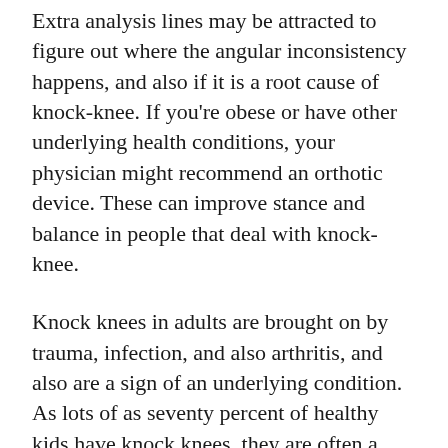Extra analysis lines may be attracted to figure out where the angular inconsistency happens, and also if it is a root cause of knock-knee. If you're obese or have other underlying health conditions, your physician might recommend an orthotic device. These can improve stance and balance in people that deal with knock-knee.
Knock knees in adults are brought on by trauma, infection, and also arthritis, and also are a sign of an underlying condition. As lots of as seventy percent of healthy kids have knock knees, they are often a sign of a medical condition called rickets. Although Rickets utilized to be the only well-known source of knock knees, the problem is extra typical currently. As well as there's no solitary cause.
Lots of kids experience knock knees at some time in their lives. They start to walk with a little bend in